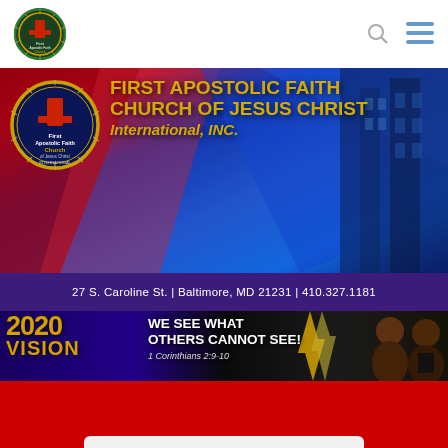[Figure (logo): Navigation bar with circular church logo, search icon (magnifying glass), and hamburger menu icon in blue]
[Figure (illustration): Main church banner with blue and red gradient background, circular gold-bordered church logo on left, bold gold text reading 'FIRST APOSTOLIC FAITH CHURCH OF JESUS CHRIST International, INC.']
27 S. Caroline St. | Baltimore, MD 21231 | 410.327.1181
[Figure (illustration): 2020 Vision banner with gold '2020' and 'VISION' text on dark blue/black background, white bold text 'WE SEE WHAT OTHERS CANNOT SEE!' with '1 Corinthians 2:9-10', and photos of two pastors on right]